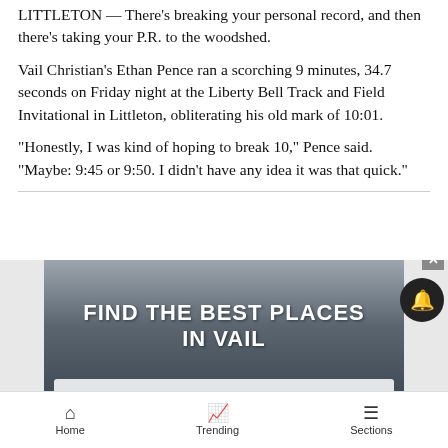LITTLETON — There's breaking your personal record, and then there's taking your P.R. to the woodshed.
Vail Christian's Ethan Pence ran a scorching 9 minutes, 34.7 seconds on Friday night at the Liberty Bell Track and Field Invitational in Littleton, obliterating his old mark of 10:01.
“Honestly, I was kind of hoping to break 10,” Pence said. “Maybe: 9:45 or 9:50. I didn’t have any idea it was that quick.”
[Figure (screenshot): Advertisement banner reading FIND THE BEST PLACES IN VAIL with a search bar at the bottom, overlaid on a grayscale aerial/mountain image]
Home   Trending   Sections